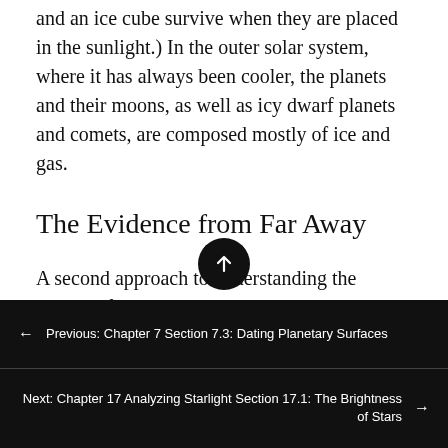and an ice cube survive when they are placed in the sunlight.) In the outer solar system, where it has always been cooler, the planets and their moons, as well as icy dwarf planets and comets, are composed mostly of ice and gas.
The Evidence from Far Away
A second approach to understanding the origins of the solar system is to look outward for evidence that other systems of planets are
← Previous: Chapter 7 Section 7.3: Dating Planetary Surfaces
Next: Chapter 17 Analyzing Starlight Section 17.1: The Brightness of Stars →